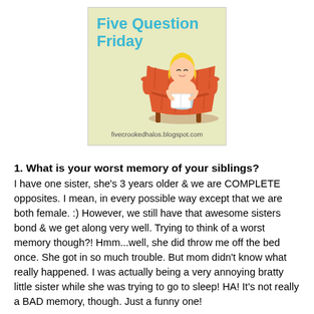[Figure (illustration): Five Question Friday blog logo showing a cartoon blonde woman reading in a red armchair on a green background, with text 'Five Question Friday' in blue and URL 'fivecrookedhalos.blogspot.com']
1. What is your worst memory of your siblings?
I have one sister, she's 3 years older & we are COMPLETE opposites. I mean, in every possible way except that we are both female. :) However, we still have that awesome sisters bond & we get along very well. Trying to think of a worst memory though?! Hmm...well, she did throw me off the bed once. She got in so much trouble. But mom didn't know what really happened. I was actually being a very annoying bratty little sister while she was trying to go to sleep! HA! It's not really a BAD memory, though. Just a funny one!
2. What is your naughtiest childhood memory? (Must be something YOU did, no pawning it off to someone else!)